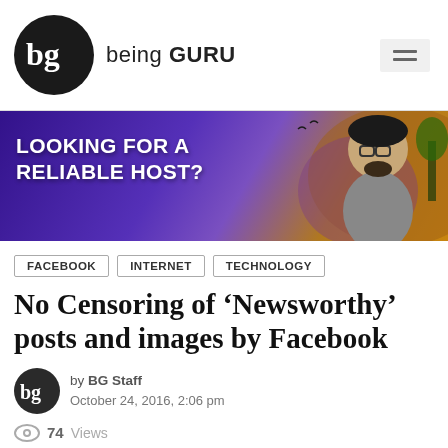being GURU
[Figure (photo): Promotional banner: 'LOOKING FOR A RELIABLE HOST?' with a person in glasses on a colorful illustrated background]
FACEBOOK
INTERNET
TECHNOLOGY
No Censoring of ‘Newsworthy’ posts and images by Facebook
by BG Staff
October 24, 2016, 2:06 pm
74 Views
[Figure (photo): Dark space/night sky image at the bottom of the page]